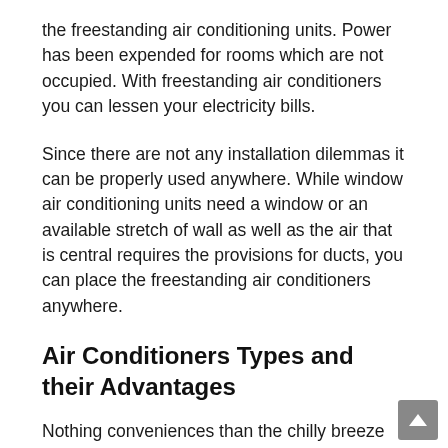the freestanding air conditioning units. Power has been expended for rooms which are not occupied. With freestanding air conditioners you can lessen your electricity bills.
Since there are not any installation dilemmas it can be properly used anywhere. While window air conditioning units need a window or an available stretch of wall as well as the air that is central requires the provisions for ducts, you can place the freestanding air conditioners anywhere.
Air Conditioners Types and their Advantages
Nothing conveniences than the chilly breeze from the vent of a ac on a summer afternoon that is hot. By having an air conditioner you'll beat the heat and there's